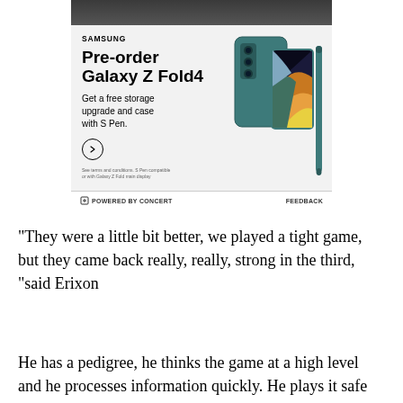[Figure (photo): Samsung Galaxy Z Fold4 advertisement. Shows the phone folded with S Pen. Text: SAMSUNG, Pre-order Galaxy Z Fold4, Get a free storage upgrade and case with S Pen. Footer: POWERED BY CONCERT, FEEDBACK]
"They were a little bit better, we played a tight game, but they came back really, really, strong in the third, "said Erixon
He has a pedigree, he thinks the game at a high level and he processes information quickly. He plays it safe